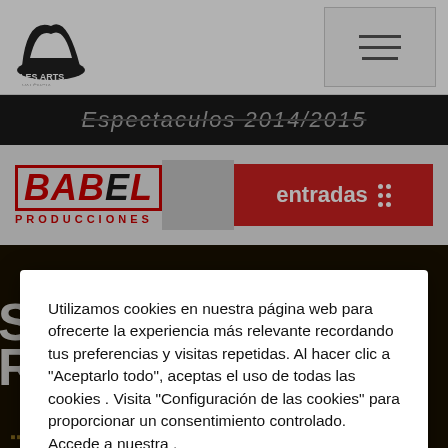[Figure (screenshot): Les Arts Valencia website navigation bar with logo and hamburger menu button]
[Figure (screenshot): Dark banner strip with text 'Espectaculos 2014/2015' in italic gray text]
[Figure (screenshot): Content row with Babel Producciones logo, gray block, and red 'entradas' button with decorative dots]
[Figure (screenshot): Theater auditorium seating background image]
Utilizamos cookies en nuestra página web para ofrecerte la experiencia más relevante recordando tus preferencias y visitas repetidas. Al hacer clic a "Aceptarlo todo", aceptas el uso de todas las cookies . Visita "Configuración de las cookies" para proporcionar un consentimiento controlado. Accede a nuestra .
Cookie Settings
Accept All
I UNDERSTAND AND ACCEPT the Privacy Policy